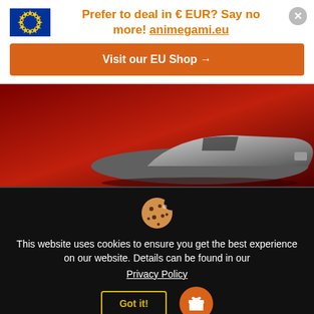[Figure (logo): European Union flag - blue rectangle with circle of yellow stars]
Prefer to deal in € EUR? Say no more! animegami.eu
Visit our EU Shop →
[Figure (photo): Dark red background with a silver/grey vehicle (car or gun) silhouette in the right lower portion]
[Figure (illustration): Cookie emoji icon]
This website uses cookies to ensure you get the best experience on our website. Details can be found in our
Privacy Policy
Got it!